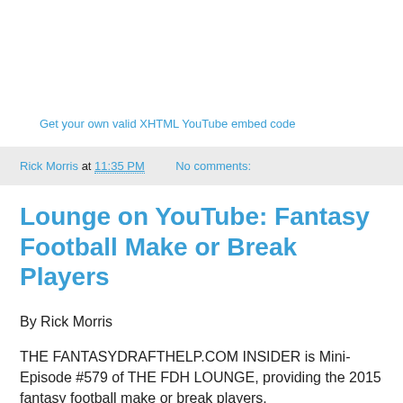Get your own valid XHTML YouTube embed code
Rick Morris at 11:35 PM   No comments:
Lounge on YouTube: Fantasy Football Make or Break Players
By Rick Morris
THE FANTASYDRAFTHELP.COM INSIDER is Mini-Episode #579 of THE FDH LOUNGE, providing the 2015 fantasy football make or break players.